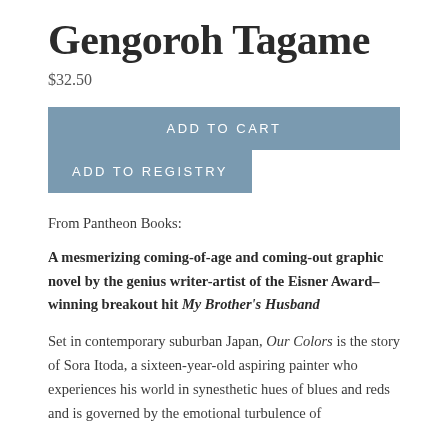Gengoroh Tagame
$32.50
ADD TO CART
ADD TO REGISTRY
From Pantheon Books:
A mesmerizing coming-of-age and coming-out graphic novel by the genius writer-artist of the Eisner Award–winning breakout hit My Brother's Husband
Set in contemporary suburban Japan, Our Colors is the story of Sora Itoda, a sixteen-year-old aspiring painter who experiences his world in synesthetic hues of blues and reds and is governed by the emotional turbulence of